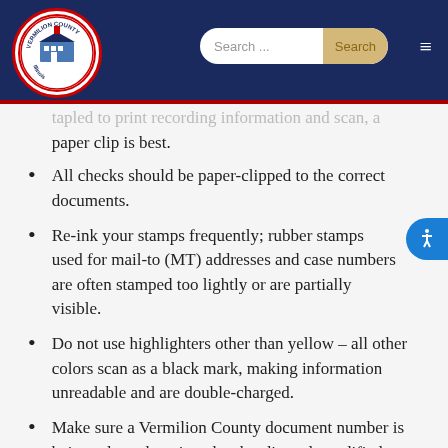Vermilion County Illinois – website header with search bar
…tapled to print recording information and scan, a paper clip is best.
All checks should be paper-clipped to the correct documents.
Re-ink your stamps frequently; rubber stamps used for mail-to (MT) addresses and case numbers are often stamped too lightly or are partially visible.
Do not use highlighters other than yellow – all other colors scan as a black mark, making information unreadable and are double-charged.
Make sure a Vermilion County document number is being released, assigned, subordinated, modified or amended by your document. (Example: 13-01234)